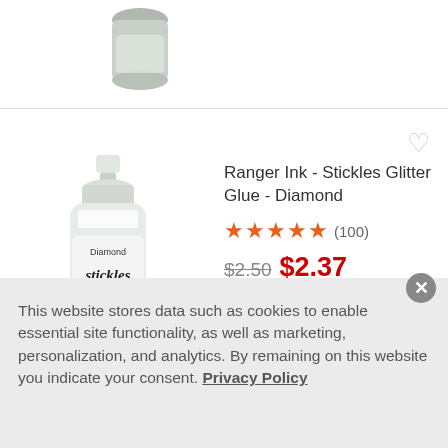[Figure (photo): Top portion of a glitter glue bottle partially visible at top of page]
[Figure (photo): Ranger Ink Stickles Glitter Glue - Diamond product bottle, white with label]
Ranger Ink - Stickles Glitter Glue - Diamond
★★★★★ (100)
$2.50  $2.37
1  Add To Cart
This website stores data such as cookies to enable essential site functionality, as well as marketing, personalization, and analytics. By remaining on this website you indicate your consent. Privacy Policy